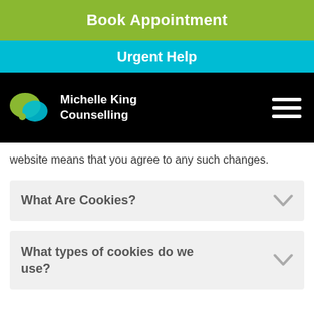Book Appointment
Urgent Help
[Figure (logo): Michelle King Counselling logo with two overlapping speech bubbles in green and teal, with white text 'Michelle King Counselling']
website means that you agree to any such changes.
What Are Cookies?
What types of cookies do we use?